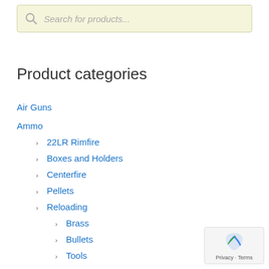Search for products...
Product categories
Air Guns
Ammo
22LR Rimfire
Boxes and Holders
Centerfire
Pellets
Reloading
Brass
Bullets
Tools